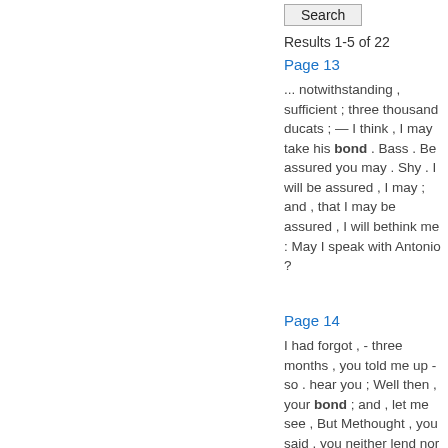Search
Results 1-5 of 22
Page 13
... notwithstanding , sufficient ; three thousand ducats ; — I think , I may take his bond . Bass . Be assured you may . Shy . I will be assured , I may ; and , that I may be assured , I will bethink me : May I speak with Antonio ?
Page 14
I had forgot , - three months , you told me up - so . hear you ; Well then , your bond ; and , let me see , But Methought , you said , you neither lend nor borrow , Upon advantage